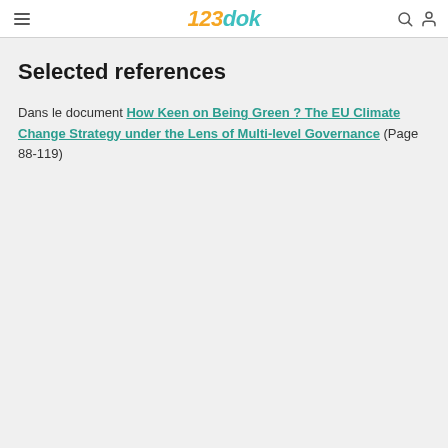123dok
Selected references
Dans le document How Keen on Being Green ? The EU Climate Change Strategy under the Lens of Multi-level Governance (Page 88-119)